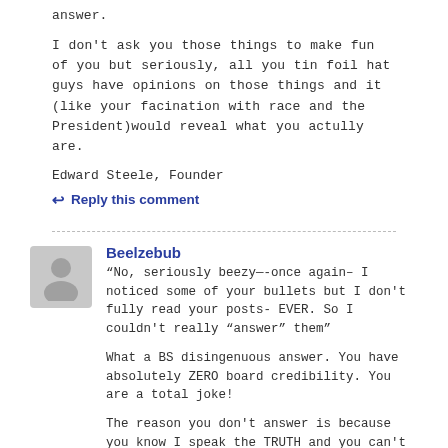answer.
I don't ask you those things to make fun of you but seriously, all you tin foil hat guys have opinions on those things and it (like your facination with race and the President)would reveal what you actully are.
Edward Steele, Founder
↩ Reply this comment
Beelzebub
“No, seriously beezy—-once again– I noticed some of your bullets but I don't fully read your posts- EVER. So I couldn't really “answer” them”
What a BS disingenuous answer. You have absolutely ZERO board credibility. You are a total joke!
The reason you don't answer is because you know I speak the TRUTH and you can't dispute my statements without looking like an ahole. With me